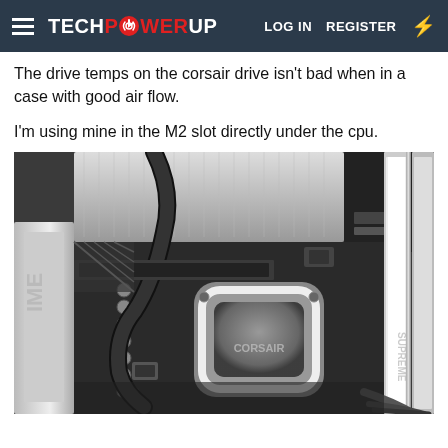TECHPOWERUP  LOG IN  REGISTER
The drive temps on the corsair drive isn't bad when in a case with good air flow.
I'm using mine in the M2 slot directly under the cpu.
[Figure (photo): Black and white close-up photo of a PC motherboard interior showing a CORSAIR liquid CPU cooler (pump head with 'CORSAIR' text) mounted on a socket, with RAM sticks on the right, a large heatsink at the top, a cable routed through the board, and capacitors visible.]